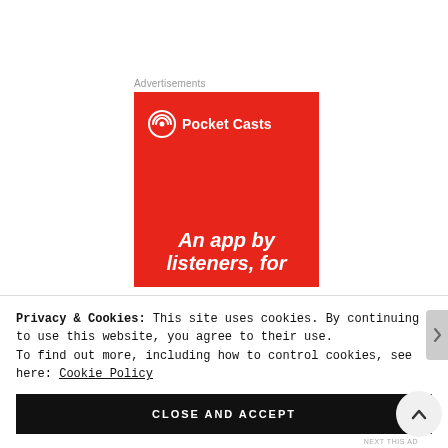Advertisements
[Figure (illustration): Pocket Casts app advertisement on red background. Shows Pocket Casts logo (icon + text) at top, and tagline 'An app by listeners, for' at bottom in white bold italic text.]
Privacy & Cookies: This site uses cookies. By continuing to use this website, you agree to their use.
To find out more, including how to control cookies, see here: Cookie Policy
CLOSE AND ACCEPT